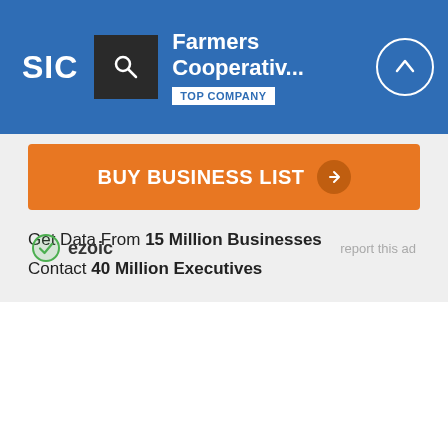SIC | Farmers Cooperativ... | TOP COMPANY
BUY BUSINESS LIST
Get Data From 15 Million Businesses
Contact 40 Million Executives
[Figure (logo): Ezoic logo with green circle checkmark icon and text 'ezoic']
report this ad